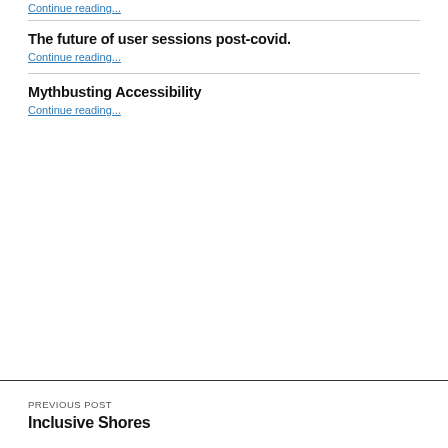Continue reading...
The future of user sessions post-covid.
Continue reading...
Mythbusting Accessibility
Continue reading...
PREVIOUS POST
Inclusive Shores